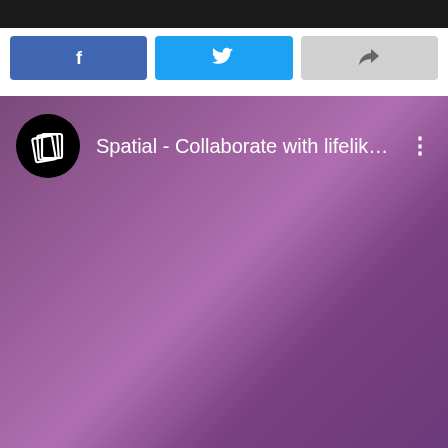[Figure (screenshot): Share buttons row with Facebook (blue), Twitter (light blue), and a generic share (gray) button]
[Figure (screenshot): YouTube video thumbnail showing Spatial app channel. Purple gradient background. Channel logo (black circle with white layered pages icon) and title 'Spatial - Collaborate with lifelike av...' with a three-dot menu icon on the right.]